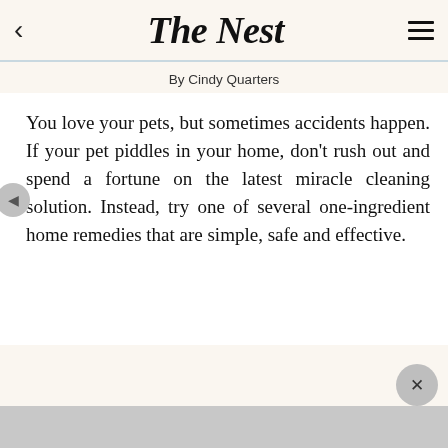The Nest
By Cindy Quarters
You love your pets, but sometimes accidents happen. If your pet piddles in your home, don't rush out and spend a fortune on the latest miracle cleaning solution. Instead, try one of several one-ingredient home remedies that are simple, safe and effective.